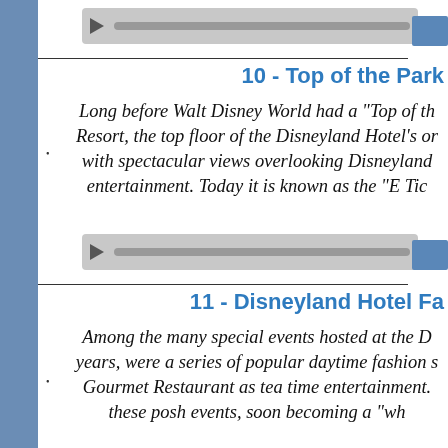[Figure (other): Audio player bar with play button and progress bar]
10 - Top of the Park
Long before Walt Disney World had a "Top of the World" restaurant at the Contemporary Resort, the top floor of the Disneyland Hotel's original tower featured a supper club with spectacular views overlooking Disneyland, offering fine dining and nightly entertainment. Today it is known as the "E Ticket" restaurant.
[Figure (other): Audio player bar with play button and progress bar]
11 - Disneyland Hotel Fa
Among the many special events hosted at the Disneyland Hotel over the years, were a series of popular daytime fashion shows held in the Gourmet Restaurant as tea time entertainment. these posh events, soon becoming a "wh